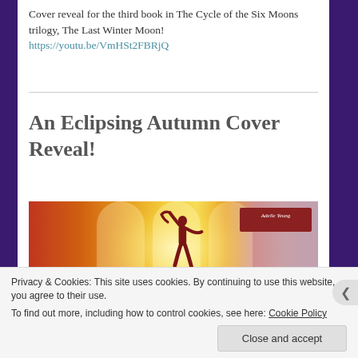Cover reveal for the third book in The Cycle of the Six Moons trilogy, The Last Winter Moon!
https://youtu.be/VmHSt2FBRjQ
An Eclipsing Autumn Cover Reveal!
[Figure (illustration): Book cover reveal banner image showing silhouetted figure against glowing golden background with the text 'Adelle Yeung' in a red box at the top right]
Privacy & Cookies: This site uses cookies. By continuing to use this website, you agree to their use.
To find out more, including how to control cookies, see here: Cookie Policy
Close and accept